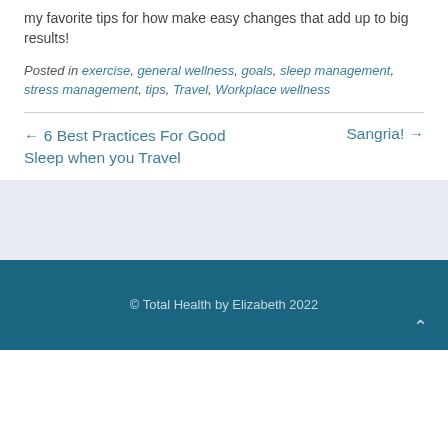my favorite tips for how make easy changes that add up to big results!
Posted in exercise, general wellness, goals, sleep management, stress management, tips, Travel, Workplace wellness
← 6 Best Practices For Good Sleep when you Travel
Sangria! →
© Total Health by Elizabeth 2022